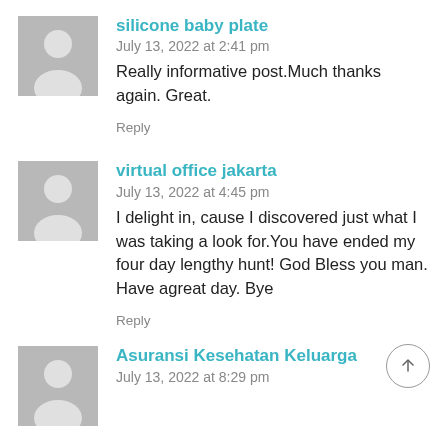[Figure (illustration): Gray placeholder avatar for silicone baby plate commenter]
silicone baby plate
July 13, 2022 at 2:41 pm
Really informative post.Much thanks again. Great.
Reply
[Figure (illustration): Gray placeholder avatar for virtual office jakarta commenter]
virtual office jakarta
July 13, 2022 at 4:45 pm
I delight in, cause I discovered just what I was taking a look for.You have ended my four day lengthy hunt! God Bless you man. Have agreat day. Bye
Reply
[Figure (illustration): Gray placeholder avatar for Asuransi Kesehatan Keluarga commenter]
Asuransi Kesehatan Keluarga
July 13, 2022 at 8:29 pm